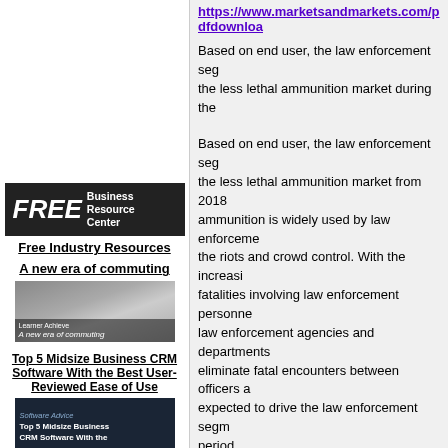https://www.marketsandmarkets.com/pdfdownlo...
Based on end user, the law enforcement seg... the less lethal ammunition market during the...
[Figure (logo): FREE Business Resource Center banner in dark background]
Free Industry Resources
A new era of commuting
[Figure (photo): Photo of a person near a car, with caption 'A new era of commuting']
Top 5 Midsize Business CRM Software With the Best User-Reviewed Ease of Use
[Figure (photo): Dark cover image for Top 5 Midsize Business CRM Software report]
Based on end user, the law enforcement seg... the less lethal ammunition market from 2018... ammunition is widely used by law enforceme... the riots and crowd control. With the increasi... fatalities involving law enforcement personne... law enforcement agencies and departments... eliminate fatal encounters between officers a... expected to drive the law enforcement segm... period.
The rubber bullets segment is projected to g... during the forecast period.
Based on product, the less lethal ammunitio... rubber bullet, bean bag rounds, polyethylene... ...ammunition, flash-bang grenades...